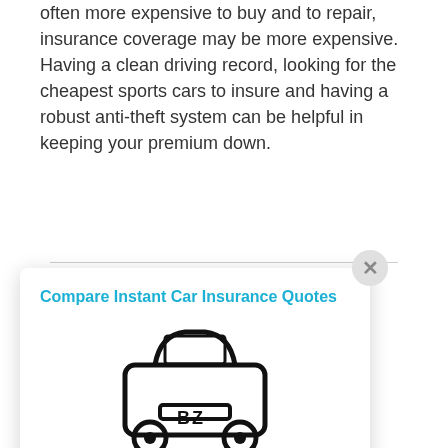often more expensive to buy and to repair, insurance coverage may be more expensive. Having a clean driving record, looking for the cheapest sports cars to insure and having a robust anti-theft system can be helpful in keeping your premium down.
[Figure (other): Insurance comparison widget popup with car icon and 'GET STARTED' button, overlapping article text. Title: 'Compare Instant Car Insurance Quotes'. Close button (x) in top right.]
s to insure? n several on, age, and driving to insurance ssan GT-R, non or Ford Mustang RTR. More common variants of